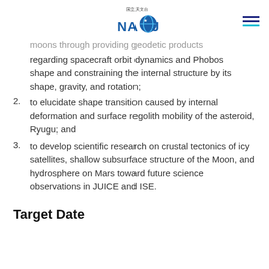NAOJ logo and navigation menu
moons through providing geodetic products regarding spacecraft orbit dynamics and Phobos shape and constraining the internal structure by its shape, gravity, and rotation;
2. to elucidate shape transition caused by internal deformation and surface regolith mobility of the asteroid, Ryugu; and
3. to develop scientific research on crustal tectonics of icy satellites, shallow subsurface structure of the Moon, and hydrosphere on Mars toward future science observations in JUICE and ISE.
Target Date